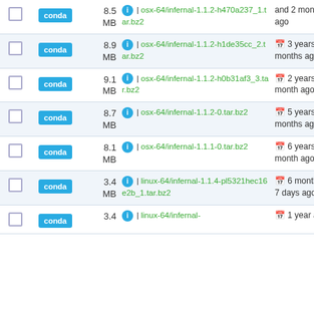|  | Type | Size | File | Date |
| --- | --- | --- | --- | --- |
| ☐ | conda | 8.5 MB | ℹ | osx-64/infernal-1.1.2-h470a237_1.tar.bz2 | and 2 months ago |
| ☐ | conda | 8.9 MB | ℹ | osx-64/infernal-1.1.2-h1de35cc_2.tar.bz2 | 3 years and 6 months ago |
| ☐ | conda | 9.1 MB | ℹ | osx-64/infernal-1.1.2-h0b31af3_3.tar.bz2 | 2 years and 1 month ago |
| ☐ | conda | 8.7 MB | ℹ | osx-64/infernal-1.1.2-0.tar.bz2 | 5 years and 7 months ago |
| ☐ | conda | 8.1 MB | ℹ | osx-64/infernal-1.1.1-0.tar.bz2 | 6 years and 1 month ago |
| ☐ | conda | 3.4 MB | ℹ | linux-64/infernal-1.1.4-pl5321hec16e2b_1.tar.bz2 | 6 months and 7 days ago |
| ☐ | conda | 3.4 | ℹ | linux-64/infernal- | 1 year and 4 |